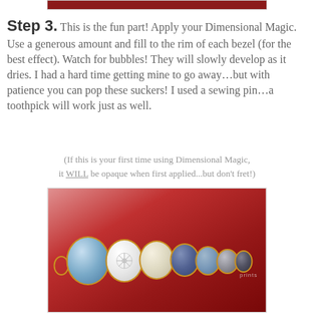[Figure (photo): Top portion of a craft/tutorial page showing a dark red image at the top (partially cropped), framed with a light border]
Step 3. This is the fun part! Apply your Dimensional Magic. Use a generous amount and fill to the rim of each bezel (for the best effect). Watch for bubbles! They will slowly develop as it dries. I had a hard time getting mine to go away…but with patience you can pop these suckers! I used a sewing pin…a toothpick will work just as well.
(If this is your first time using Dimensional Magic, it WILL be opaque when first applied...but don't fret!)
[Figure (photo): Photograph of a bezel bracelet with multiple oval/circular medallions featuring blue, white, cream, and dark blue designs, arranged in a row on a red background]